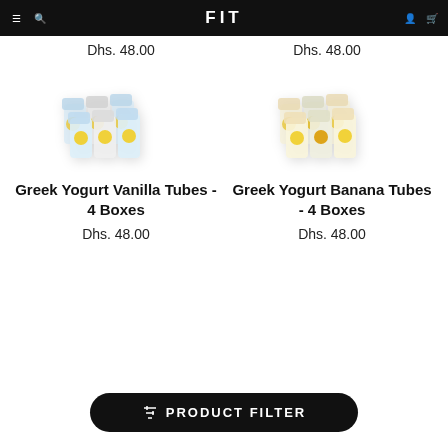FIT
Dhs. 48.00   Dhs. 48.00
[Figure (photo): Stack of Greek Yogurt Vanilla Tubes - 4 Boxes product packaging, blurred/soft focus]
Greek Yogurt Vanilla Tubes - 4 Boxes
Dhs. 48.00
[Figure (photo): Stack of Greek Yogurt Banana Tubes - 4 Boxes product packaging, blurred/soft focus]
Greek Yogurt Banana Tubes - 4 Boxes
Dhs. 48.00
PRODUCT FILTER